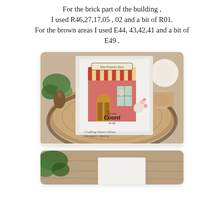For the brick part of the building , I used R46,27,17,05 , 02 and a bit of R01. For the brown areas I used E44, 43,42,41 and a bit of E49 .
[Figure (photo): A handmade greeting card featuring a colorful illustrated storefront (Your Favorite Store) with a striped awning, arched door, and windows, alongside a small bear character with flowers. The card reads 'you can Count on me'. Card is displayed on a wooden slice with greenery and a spool of twine in the background. Watermark reads Crafting Desert Divas, Designer: Mayra.]
[Figure (photo): Partial view of another handmade card or project on a wooden slice with green foliage, showing a white card base.]